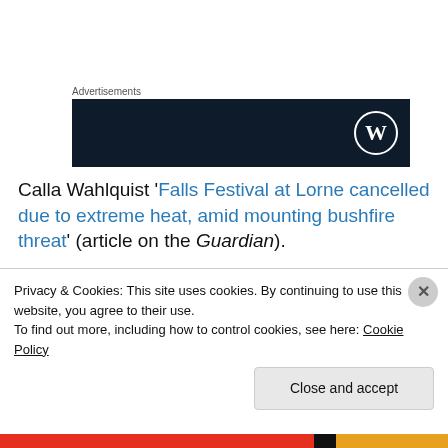[Figure (logo): Advertisements banner with WordPress logo on dark navy background]
Calla Wahlquist 'Falls Festival at Lorne cancelled due to extreme heat, amid mounting bushfire threat' (article on the Guardian).
Charis Chang 'Former fire and emergency chiefs will host emergency summit about unprecedented bushfires' (article
Privacy & Cookies: This site uses cookies. By continuing to use this website, you agree to their use.
To find out more, including how to control cookies, see here: Cookie Policy